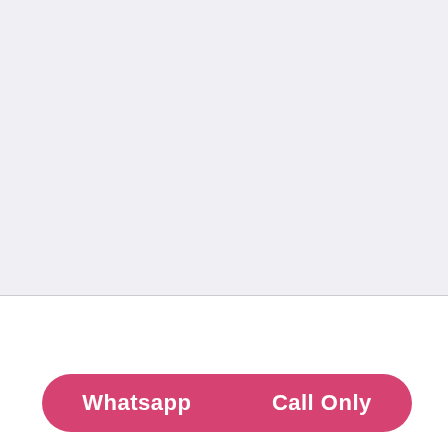CISF 249 Head Constable (General Duty) Recruitment
[Figure (other): Pink rounded banner bar with two buttons: 'Whatsapp' and 'Call Only']